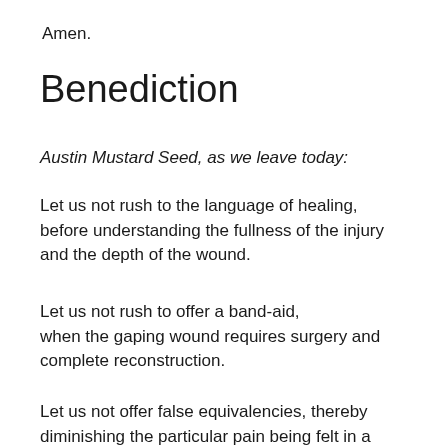Amen.
Benediction
Austin Mustard Seed, as we leave today:
Let us not rush to the language of healing, before understanding the fullness of the injury and the depth of the wound.
Let us not rush to offer a band-aid, when the gaping wound requires surgery and complete reconstruction.
Let us not offer false equivalencies, thereby diminishing the particular pain being felt in a